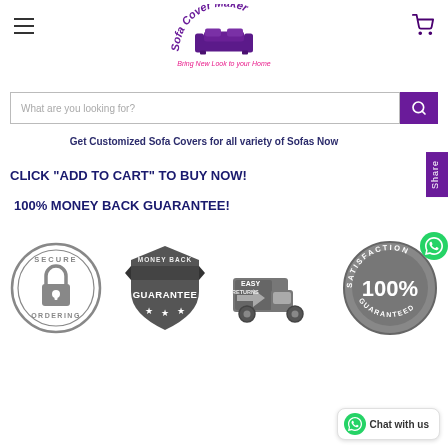Sofa Cover Maker — Bring New Look to your Home
What are you looking for?
Get Customized Sofa Covers for all variety of Sofas Now
CLICK "ADD TO CART" TO BUY NOW!
100% MONEY BACK GUARANTEE!
[Figure (illustration): Four trust badges: Secure Ordering padlock badge, Money Back Guarantee shield badge, Easy Returns truck badge, 100% Satisfaction Guaranteed round badge]
Chat with us